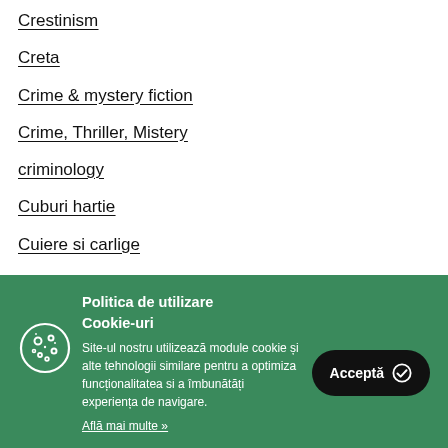Crestinism
Creta
Crime & mystery fiction
Crime, Thriller, Mistery
criminology
Cuburi hartie
Cuiere si carlige
Politica de utilizare Cookie-uri
Site-ul nostru utilizează module cookie și alte tehnologii similare pentru a optimiza funcționalitatea si a îmbunătăți experiența de navigare.
Află mai multe »